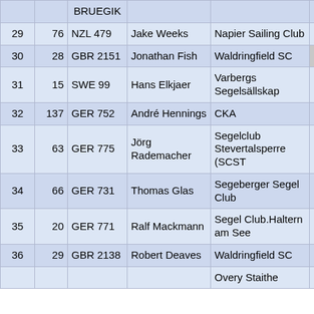| Rank | Sail# | Nat/Sail | Name | Club | Pts |
| --- | --- | --- | --- | --- | --- |
| 29 | 76 | NZL 479 | Jake Weeks | Napier Sailing Club | 11.0 |
| 30 | 28 | GBR 2151 | Jonathan Fish | Waldringfield SC | BFD |
| 31 | 15 | SWE 99 | Hans Elkjaer | Varbergs Segelsällskap | 35.0 |
| 32 | 137 | GER 752 | André Hennings | CKA | 28.0 |
| 33 | 63 | GER 775 | Jörg Rademacher | Segelclub Stevertalsperre (SCST | 43.0 |
| 34 | 66 | GER 731 | Thomas Glas | Segeberger Segel Club | 25.0 |
| 35 | 20 | GER 771 | Ralf Mackmann | Segel Club.Haltern am See | 36.0 |
| 36 | 29 | GBR 2138 | Robert Deaves | Waldringfield SC | 37.0 |
|  |  |  |  | Overy Staithe |  |